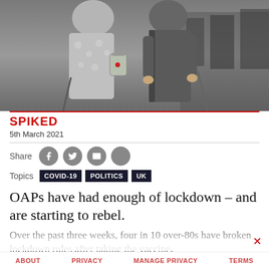[Figure (photo): Two elderly people walking outdoors, wearing winter clothing. One carries a bag, both appear to be using walking aids.]
SPIKED
5th March 2021
Share [social icons: Facebook, Twitter, Email, More]
Topics COVID-19 POLITICS UK
OAPs have had enough of lockdown – and are starting to rebel.
Over the past three weeks, four in 10 over-80s have broken lockdown rules after taking the vaccine, according to new research by the Office for National
ABOUT   PRIVACY   MANAGE PRIVACY   TERMS